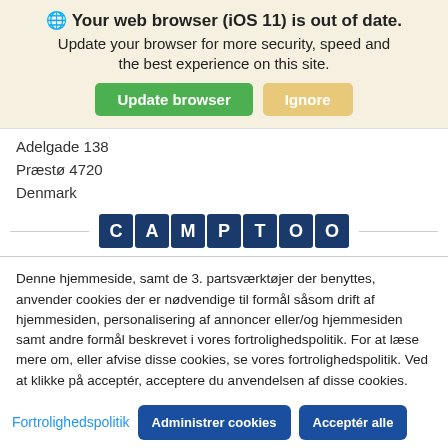[Figure (screenshot): Browser update notification banner with globe icon, bold title 'Your web browser (iOS 11) is out of date.', subtitle text, and two buttons: green 'Update browser' and orange 'Ignore']
Adelgade 138
Præstø 4720
Denmark
[Figure (logo): CAMPTOO logo — each letter in a dark blue rounded square tile]
Denne hjemmeside, samt de 3. partsværktøjer der benyttes, anvender cookies der er nødvendige til formål såsom drift af hjemmesiden, personalisering af annoncer eller/og hjemmesiden samt andre formål beskrevet i vores fortrolighedspolitik. For at læse mere om, eller afvise disse cookies, se vores fortrolighedspolitik. Ved at klikke på acceptér, acceptere du anvendelsen af disse cookies.
Fortrolighedspolitik
Administrer cookies
Acceptér alle